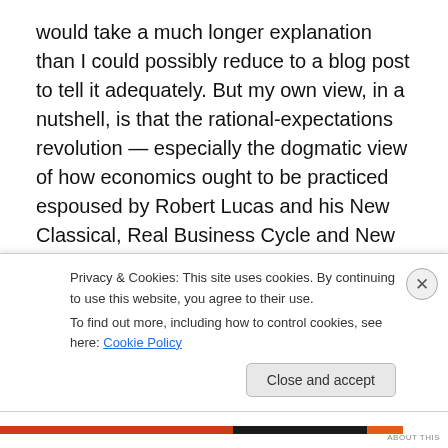would take a much longer explanation than I could possibly reduce to a blog post to tell it adequately. But my own view, in a nutshell, is that the rational-expectations revolution — especially the dogmatic view of how economics ought to be practiced espoused by Robert Lucas and his New Classical, Real Business Cycle and New Keynesian acolytes — has subverted the original aims of the microfoundations project. Rather than relax the informational assumptions underlying conventional equilibrium analysis to allow for a richer and more relevant analysis than is possible when using the tools of standard
Privacy & Cookies: This site uses cookies. By continuing to use this website, you agree to their use.
To find out more, including how to control cookies, see here: Cookie Policy
Close and accept